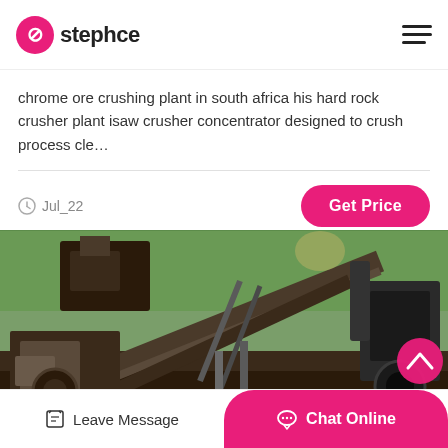stephce
chrome ore crushing plant in south africa his hard rock crusher plant isaw crusher concentrator designed to crush process cle…
Jul_22
[Figure (photo): Outdoor industrial rock crushing plant machinery with conveyor belts, crushers, and motors set among trees]
Leave Message
Chat Online